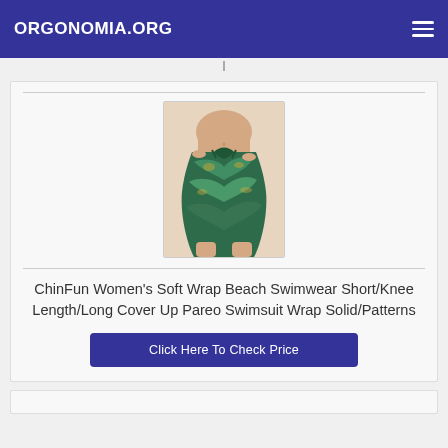ORGONOMIA.ORG
[Figure (photo): Woman wearing a teal/green patterned wrap skirt/sarong tied at the waist, cropped to show waist and legs]
ChinFun Women's Soft Wrap Beach Swimwear Short/Knee Length/Long Cover Up Pareo Swimsuit Wrap Solid/Patterns
Click Here To Check Price